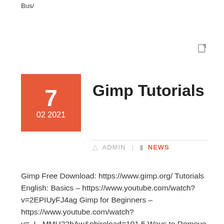Bus/
Gimp Tutorials
ADMIN | NEWS
Gimp Free Download: https://www.gimp.org/ Tutorials English: Basics – https://www.youtube.com/watch?v=2EPIUyFJ4ag Gimp for Beginners – https://www.youtube.com/watch?v=_L_MMU22bAw&pbjreload=101 5 Ways to Remove Anything from a Photo in GIMP – https://www.youtube.com/watch?v=yNzIHrsmeIw GIMP Resynthesizer is BETTER Than Photoshop's Content Aware Fill – https://www.youtube.com/watch?v=J61ExqvNcBQ G'MIC Foreground Extraction (Interactive) – https://www.youtube.com/watch?v=JfxTTU4yba8 Auto-Illuminate 2D shapes – https://www.youtube.com/watch?v=G1wYSJTsVtI Face Swap using Seamless Blending – https://www.youtube.com/watch?v=...